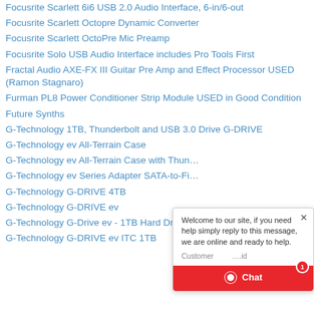Focusrite Scarlett 6i6 USB 2.0 Audio Interface, 6-in/6-out
Focusrite Scarlett Octopre Dynamic Converter
Focusrite Scarlett OctoPre Mic Preamp
Focusrite Solo USB Audio Interface includes Pro Tools First
Fractal Audio AXE-FX III Guitar Pre Amp and Effect Processor USED (Ramon Stagnaro)
Furman PL8 Power Conditioner Strip Module USED in Good Condition
Future Synths
G-Technology 1TB, Thunderbolt and USB 3.0 Drive G-DRIVE
G-Technology ev All-Terrain Case
G-Technology ev All-Terrain Case with Thun…
G-Technology ev Series Adapter SATA-to-Fi…
G-Technology G-DRIVE 4TB
G-Technology G-DRIVE ev
G-Technology G-Drive ev - 1TB Hard Drive
G-Technology G-DRIVE ev ITC 1TB
[Figure (screenshot): Live chat widget overlay with message 'Welcome to our site, if you need help simply reply to this message, we are online and ready to help.' and a red Chat button with a bubble icon and notification badge showing 1.]